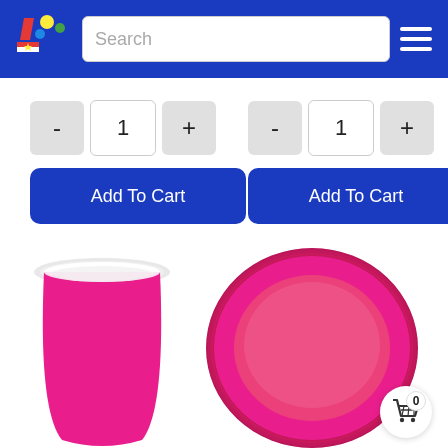[Figure (screenshot): Website header with colorful party logo, search bar, and hamburger menu on blue background]
[Figure (infographic): Two quantity selectors (minus, 1, plus) with Add To Cart buttons below, for two products side by side]
[Figure (photo): Hot pink paper cup (left) and hot pink paper plate (right) product images]
[Figure (other): Shopping cart icon with badge showing 0 items]